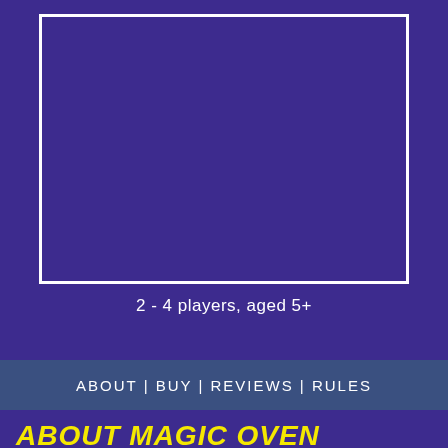[Figure (other): Purple rectangular box with white border, representing a game box image placeholder]
2 - 4 players, aged 5+
ABOUT | BUY | REVIEWS | RULES
ABOUT MAGIC OVEN BAKING GAME
THE MAGIC OVEN "BAKES" GOLDEN PIE CRUSTS ONTO YOUR APPLE-SMELLING PIES